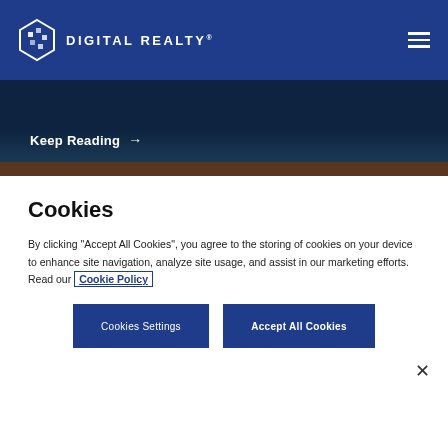DIGITAL REALTY®
Keep Reading →
[Figure (other): Brown/dark decorative strip]
Cookies
By clicking "Accept All Cookies", you agree to the storing of cookies on your device to enhance site navigation, analyze site usage, and assist in our marketing efforts. Read our Cookie Policy
Cookies Settings
Accept All Cookies